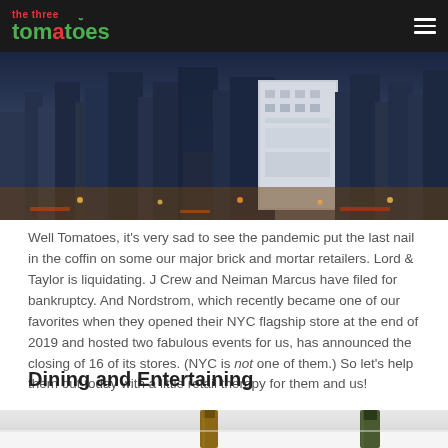the three tomatoes
[Figure (photo): Aerial view of New York City skyline at dusk showing Nordstrom flagship store building and surrounding skyscrapers with city lights]
Well Tomatoes, it's very sad to see the pandemic put the last nail in the coffin on some our major brick and mortar retailers. Lord & Taylor is liquidating. J Crew and Neiman Marcus have filed for bankruptcy. And Nordstrom, which recently became one of our favorites when they opened their NYC flagship store at the end of 2019 and hosted two fabulous events for us, has announced the closing of 16 of its stores. (NYC is not one of them.) So let's help them out today with a little retail therapy for them and us!
Dining and Entertaining
[Figure (photo): Champagne or wine bottles on a white surface, partial view cropped at bottom of page]